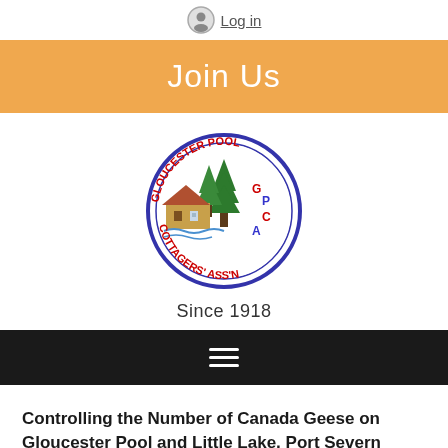Log in
Join Us
[Figure (logo): Gloucester Pool Cottagers' Association circular logo with GPCA letters, cottage and pine trees illustration, Since 1918]
Since 1918
☰ (hamburger/navigation menu icon)
Controlling the Number of Canada Geese on Gloucester Pool and Little Lake, Port Severn
[Figure (photo): Partial photo of Canada geese or wildlife, cropped at bottom right]